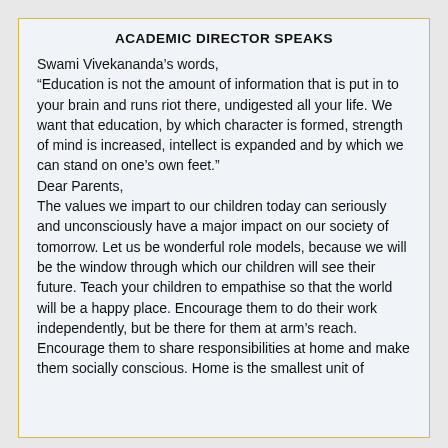ACADEMIC DIRECTOR SPEAKS
Swami Vivekananda's words,
“Education is not the amount of information that is put in to your brain and runs riot there, undigested all your life. We want that education, by which character is formed, strength of mind is increased, intellect is expanded and by which we can stand on one’s own feet.”
Dear Parents,
The values we impart to our children today can seriously and unconsciously have a major impact on our society of tomorrow. Let us be wonderful role models, because we will be the window through which our children will see their future. Teach your children to empathise so that the world will be a happy place. Encourage them to do their work independently, but be there for them at arm’s reach. Encourage them to share responsibilities at home and make them socially conscious. Home is the smallest unit of